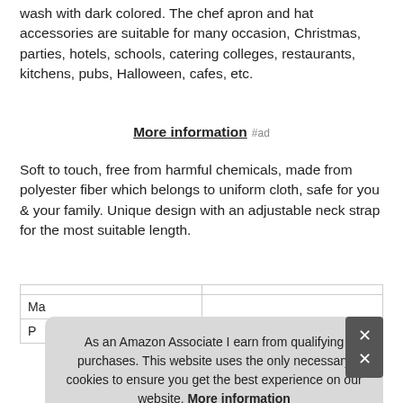wash with dark colored. The chef apron and hat accessories are suitable for many occasion, Christmas, parties, hotels, schools, catering colleges, restaurants, kitchens, pubs, Halloween, cafes, etc.
More information #ad
Soft to touch, free from harmful chemicals, made from polyester fiber which belongs to uniform cloth, safe for you & your family. Unique design with an adjustable neck strap for the most suitable length.
| Ma |  |
| P |  |
As an Amazon Associate I earn from qualifying purchases. This website uses the only necessary cookies to ensure you get the best experience on our website. More information